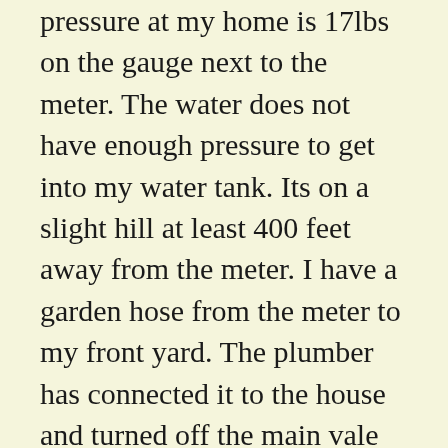pressure at my home is 17lbs on the gauge next to the meter. The water does not have enough pressure to get into my water tank. Its on a slight hill at least 400 feet away from the meter. I have a garden hose from the meter to my front yard. The plumber has connected it to the house and turned off the main vale to the house from my 5000 gallon water tank. Mr Moore and the plumber said I need a booster pump to get the water up into the water tank. he water is dribling into the house from the garden hose. I can't take a shower or wash clothes. This is a terrble situation. The plumber is going to check on a price and size I